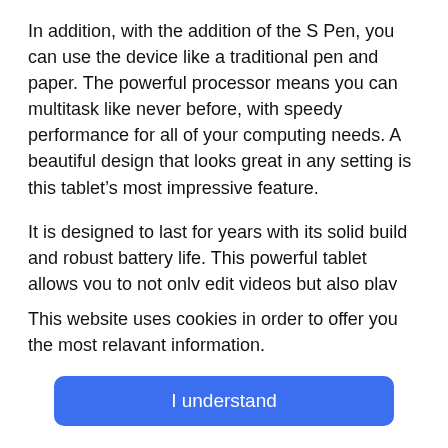In addition, with the addition of the S Pen, you can use the device like a traditional pen and paper. The powerful processor means you can multitask like never before, with speedy performance for all of your computing needs. A beautiful design that looks great in any setting is this tablet's most impressive feature.
It is designed to last for years with its solid build and robust battery life. This powerful tablet allows you to not only edit videos but also play games like PUBG.
This website uses cookies in order to offer you the most relavant information.
I understand